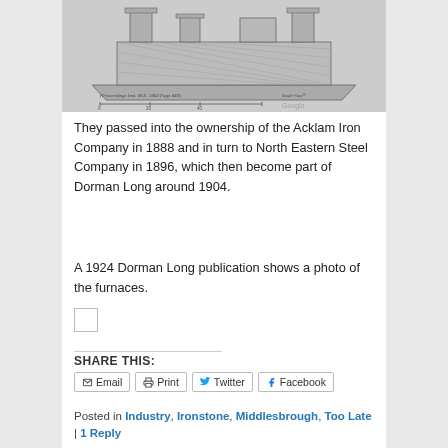[Figure (engineering-diagram): Technical engineering drawing of iron furnaces, with scale notation '(Proceedings Inst. M.E. 1864 Page 449) Scale 1/160th' and a measurement scale bar.]
They passed into the ownership of the Acklam Iron Company in 1888 and in turn to North Eastern Steel Company in 1896, which then become part of Dorman Long around 1904.
A 1924 Dorman Long publication shows a photo of the furnaces.
[Figure (photo): Small placeholder image thumbnail]
SHARE THIS:
Email  Print  Twitter  Facebook
Posted in Industry, Ironstone, Middlesbrough, Too Late | 1 Reply